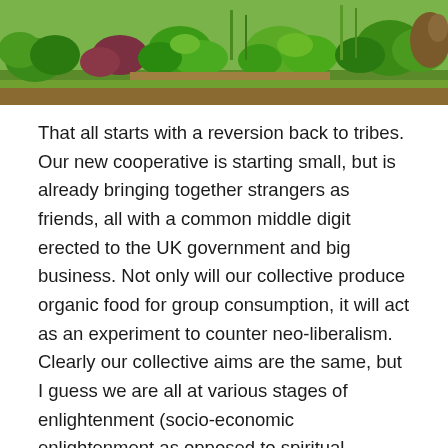[Figure (photo): Photograph of a lush garden with green leafy plants, lettuce, and other vegetables growing, with grass and soil visible.]
That all starts with a reversion back to tribes. Our new cooperative is starting small, but is already bringing together strangers as friends, all with a common middle digit erected to the UK government and big business. Not only will our collective produce organic food for group consumption, it will act as an experiment to counter neo-liberalism. Clearly our collective aims are the same, but I guess we are all at various stages of enlightenment (socio-economic enlightenment as opposed to spiritual enlightenment), but I think as one “micro-movement”, we can look to the implementation of a different lifestyle, one not beholden to power-wielding constructs.
Naturally, this existential epiphany is leading me to